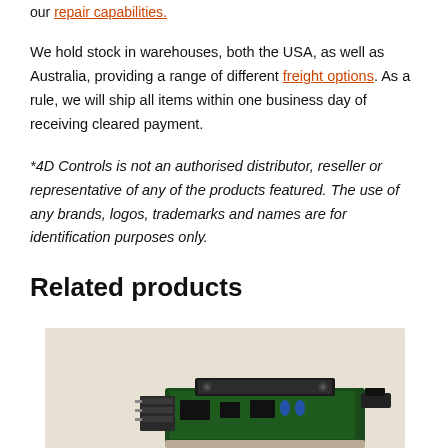our repair capabilities.
We hold stock in warehouses, both the USA, as well as Australia, providing a range of different freight options. As a rule, we will ship all items within one business day of receiving cleared payment.
*4D Controls is not an authorised distributor, reseller or representative of any of the products featured. The use of any brands, logos, trademarks and names are for identification purposes only.
Related products
[Figure (photo): Electronic circuit board / hardware component product image on a beige/tan background]